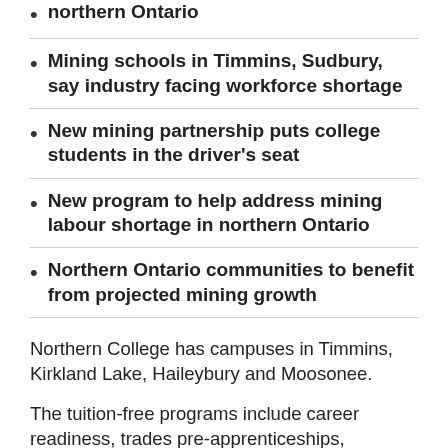northern Ontario
Mining schools in Timmins, Sudbury, say industry facing workforce shortage
New mining partnership puts college students in the driver's seat
New program to help address mining labour shortage in northern Ontario
Northern Ontario communities to benefit from projected mining growth
Northern College has campuses in Timmins, Kirkland Lake, Haileybury and Moosonee.
The tuition-free programs include career readiness, trades pre-apprenticeships,